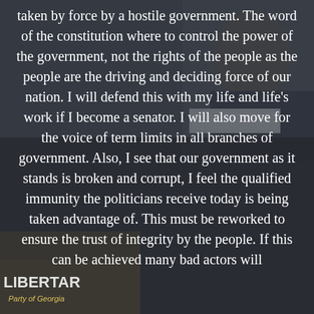[Figure (photo): Background photo of a man (Mark Whitney) at a podium with a name placard visible, overlaid with semi-transparent dark panels. Bottom left shows a Libertarian Party of Georgia logo/sign.]
taken by force by a hostile government. The word of the constitution where to control the power of the government, not the rights of the people as the people are the driving and deciding force of our nation. I will defend this with my life and life's work if I become a senator. I will also move for the voice of term limits in all branches of government. Also, I see that our government as it stands is broken and corrupt, I feel the qualified immunity the politicians receive today is being taken advantage of. This must be reworked to ensure the trust of integrity by the people. If this can be achieved many bad actors will